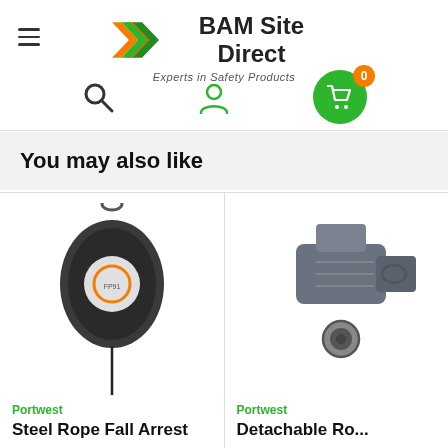[Figure (logo): BAM Site Direct logo with chevron arrows and tagline 'Experts in Safety Products']
You may also like
[Figure (photo): Steel Rope Fall Arrest device by Portwest – round retractable black unit with cable]
Portwest
Steel Rope Fall Arrest
[Figure (photo): Detachable rope grab / connector device by Portwest – partially visible, cropped at right]
Portwest
Detachable Ro...